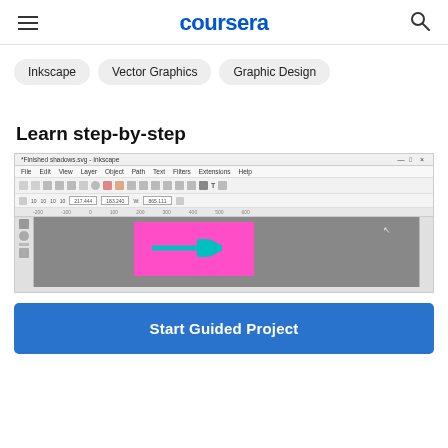coursera
Inkscape
Vector Graphics
Graphic Design
Learn step-by-step
[Figure (screenshot): Inkscape application screenshot showing the interface with toolbar, menu bar, rulers, and a pink rectangle with a cyan arrow on the canvas.]
Start Guided Project